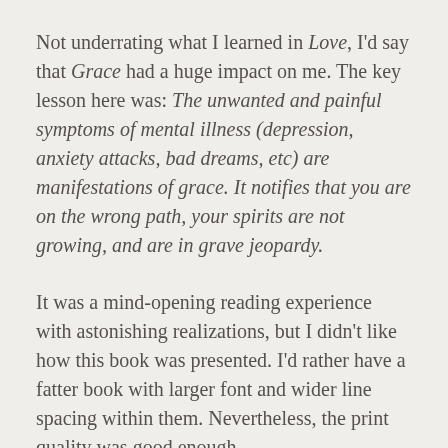Not underrating what I learned in Love, I'd say that Grace had a huge impact on me. The key lesson here was: The unwanted and painful symptoms of mental illness (depression, anxiety attacks, bad dreams, etc) are manifestations of grace. It notifies that you are on the wrong path, your spirits are not growing, and are in grave jeopardy.
It was a mind-opening reading experience with astonishing realizations, but I didn't like how this book was presented. I'd rather have a fatter book with larger font and wider line spacing within them. Nevertheless, the print quality was good enough.
A few learnings and realizations: